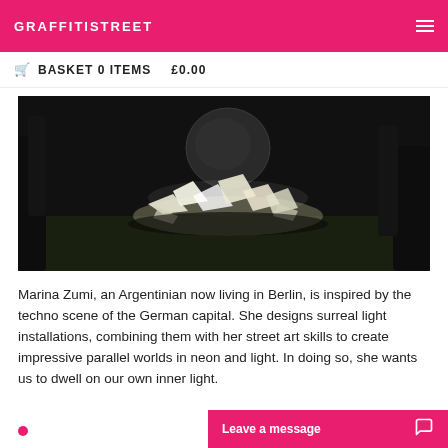GRAFFITISTREET
BASKET 0 ITEMS   £0.00
[Figure (photo): Dark atmospheric photo of a light installation in a forest or ruin setting, showing white glowing debris pile with a large sphere in the background, moody dark environment]
Marina Zumi, an Argentinian now living in Berlin, is inspired by the techno scene of the German capital. She designs surreal light installations, combining them with her street art skills to create impressive parallel worlds in neon and light. In doing so, she wants us to dwell on our own inner light.
Leave a message